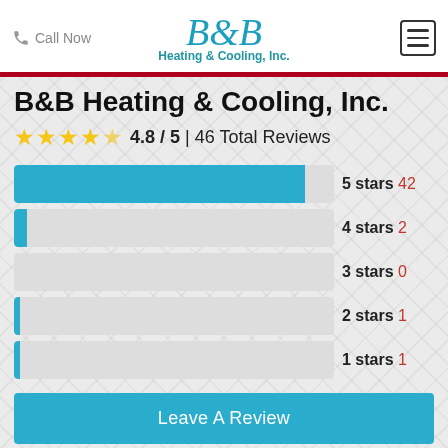Call Now | B&B Heating & Cooling, Inc.
B&B Heating & Cooling, Inc.
4.8 / 5 | 46 Total Reviews
[Figure (bar-chart): Star Rating Distribution]
Leave A Review